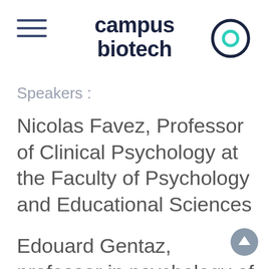campus biotech
Speakers :
Nicolas Favez, Professor of Clinical Psychology at the Faculty of Psychology and Educational Sciences
Edouard Gentaz, professor in psychology of sensory-motor, affective and social development in the Faculty